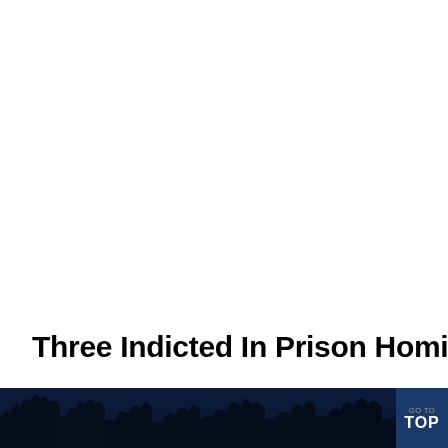Three Indicted In Prison Homicide
[Figure (photo): Dark night sky photograph with trees or foliage visible, appearing as a dark blue strip at the bottom of the page]
GO TO TOP